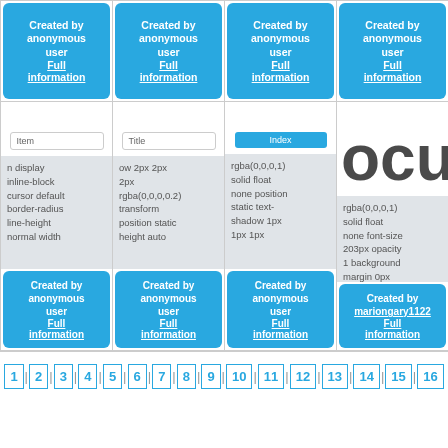[Figure (screenshot): Top row of 4 grid cells each containing a blue card with 'Created by anonymous user' and 'Full information' link]
[Figure (screenshot): Middle row of 4 grid cells: cells 1-3 show input previews and CSS property text blocks with blue cards; cell 4 shows 'ocu' large text and CSS text block with 'Created by mariongary1122' blue card]
1
2
3
4
5
6
7
8
9
10
11
12
13
14
15
16